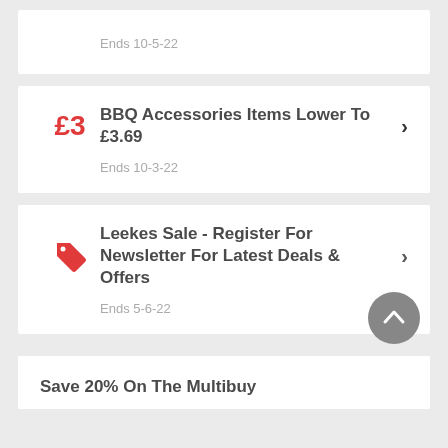Ends 10-5-22
£3 BBQ Accessories Items Lower To £3.69
Ends 10-3-22
Leekes Sale - Register For Newsletter For Latest Deals & Offers
Ends 5-6-22
Save 20% On The Multibuy